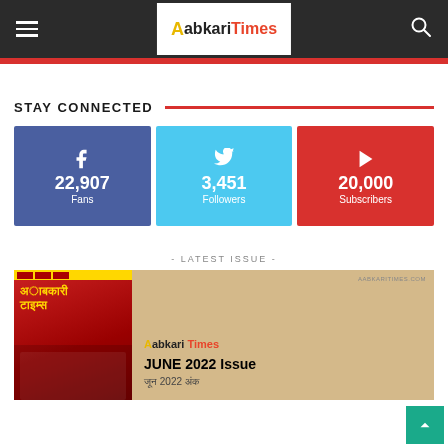Aabkari Times
STAY CONNECTED
22,907 Fans
3,451 Followers
20,000 Subscribers
- LATEST ISSUE -
[Figure (screenshot): Aabkari Times June 2022 Issue magazine cover with Hindi text and publication info]
JUNE 2022 Issue
जून 2022 अंक